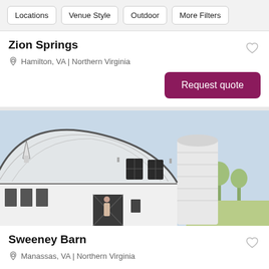Locations | Venue Style | Outdoor | More Filters
Zion Springs
Hamilton, VA | Northern Virginia
Request quote
[Figure (photo): Exterior photo of Sweeney Barn — a white barn with a curved arched metal roof and a tall white silo, green trees visible in background]
Sweeney Barn
Manassas, VA | Northern Virginia
Starting at $12,950